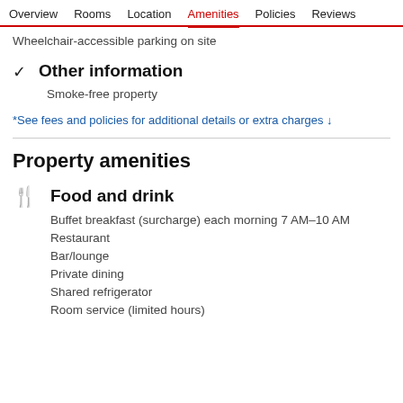Overview  Rooms  Location  Amenities  Policies  Reviews
Wheelchair-accessible parking on site
✓  Other information
Smoke-free property
*See fees and policies for additional details or extra charges ↓
Property amenities
🍴  Food and drink
Buffet breakfast (surcharge) each morning 7 AM–10 AM
Restaurant
Bar/lounge
Private dining
Shared refrigerator
Room service (limited hours)